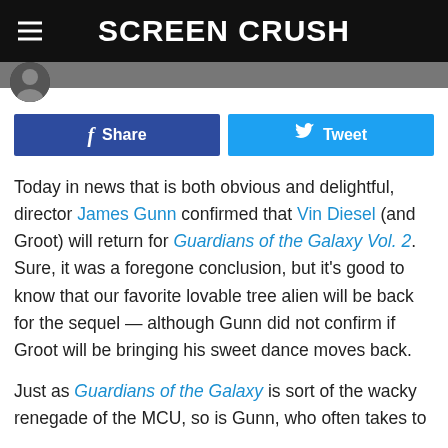SCREEN CRUSH
[Figure (other): Social share buttons: Facebook Share and Twitter Tweet]
Today in news that is both obvious and delightful, director James Gunn confirmed that Vin Diesel (and Groot) will return for Guardians of the Galaxy Vol. 2. Sure, it was a foregone conclusion, but it's good to know that our favorite lovable tree alien will be back for the sequel — although Gunn did not confirm if Groot will be bringing his sweet dance moves back.
Just as Guardians of the Galaxy is sort of the wacky renegade of the MCU, so is Gunn, who often takes to Facebook to answer fan questions in contrast to the typical